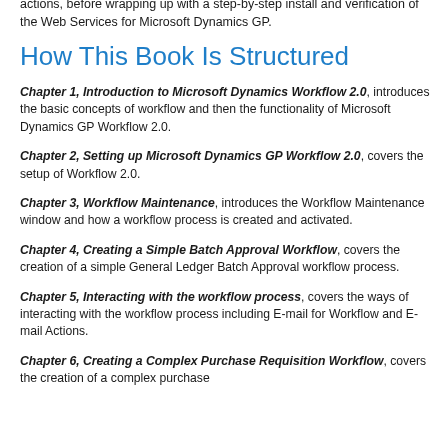actions, before wrapping up with a step-by-step install and verification of the Web Services for Microsoft Dynamics GP.
How This Book Is Structured
Chapter 1, Introduction to Microsoft Dynamics Workflow 2.0, introduces the basic concepts of workflow and then the functionality of Microsoft Dynamics GP Workflow 2.0.
Chapter 2, Setting up Microsoft Dynamics GP Workflow 2.0, covers the setup of Workflow 2.0.
Chapter 3, Workflow Maintenance, introduces the Workflow Maintenance window and how a workflow process is created and activated.
Chapter 4, Creating a Simple Batch Approval Workflow, covers the creation of a simple General Ledger Batch Approval workflow process.
Chapter 5, Interacting with the workflow process, covers the ways of interacting with the workflow process including E-mail for Workflow and E-mail Actions.
Chapter 6, Creating a Complex Purchase Requisition Workflow, covers the creation of a complex purchase...